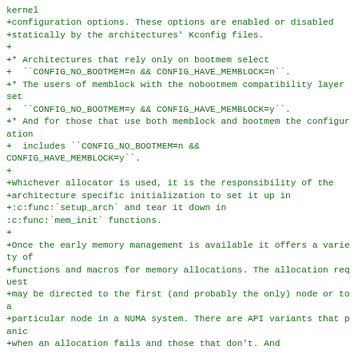kernel
+configuration options. These options are enabled or disabled
+statically by the architectures' Kconfig files.
+
+* Architectures that rely only on bootmem select
+  ``CONFIG_NO_BOOTMEM=n && CONFIG_HAVE_MEMBLOCK=n``.
+* The users of memblock with the nobootmem compatibility layer set
+  ``CONFIG_NO_BOOTMEM=y && CONFIG_HAVE_MEMBLOCK=y``.
+* And for those that use both memblock and bootmem the configuration
+  includes ``CONFIG_NO_BOOTMEM=n &&
CONFIG_HAVE_MEMBLOCK=y``.
+
+Whichever allocator is used, it is the responsibility of the
+architecture specific initialization to set it up in
+:c:func:`setup_arch` and tear it down in
:c:func:`mem_init` functions.
+
+Once the early memory management is available it offers a variety of
+functions and macros for memory allocations. The allocation request
+may be directed to the first (and probably the only) node or to a
+particular node in a NUMA system. There are API variants that panic
+when an allocation fails and those that don't. And